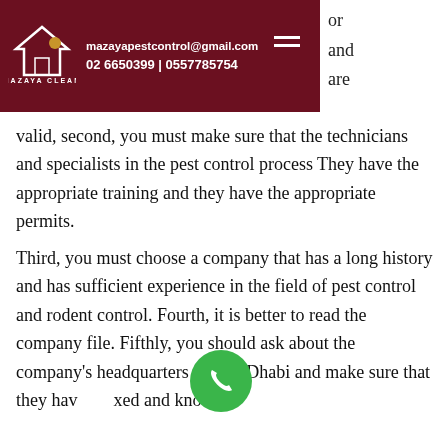mazayapestcontrol@gmail.com  02 6650399 | 0557785754
or and are valid, second, you must make sure that the technicians and specialists in the pest control process They have the appropriate training and they have the appropriate permits. Third, you must choose a company that has a long history and has sufficient experience in the field of pest control and rodent control. Fourth, it is better to read the company file. Fifthly, you should ask about the company's headquarters in Abu Dhabi and make sure that they have a fixed and known headquarters.